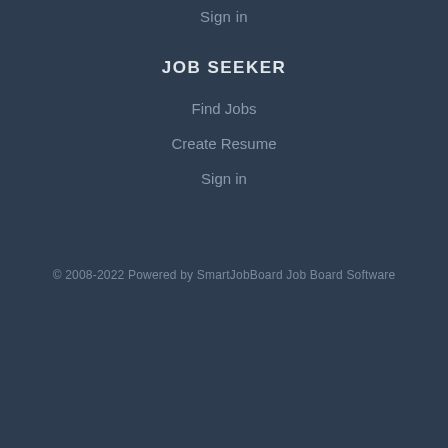Sign in
JOB SEEKER
Find Jobs
Create Resume
Sign in
© 2008-2022 Powered by SmartJobBoard Job Board Software